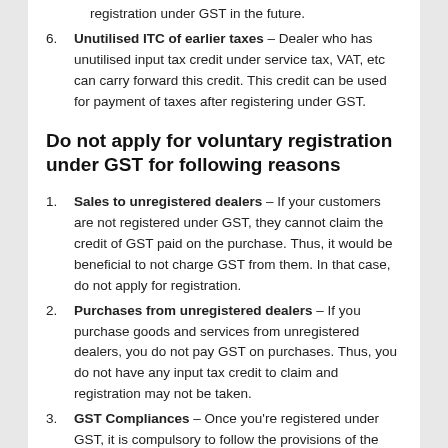Voluntary GST registration to avoid compulsory registration under GST in the future.
Unutilised ITC of earlier taxes – Dealer who has unutilised input tax credit under service tax, VAT, etc can carry forward this credit. This credit can be used for payment of taxes after registering under GST.
Do not apply for voluntary registration under GST for following reasons
Sales to unregistered dealers – If your customers are not registered under GST, they cannot claim the credit of GST paid on the purchase. Thus, it would be beneficial to not charge GST from them. In that case, do not apply for registration.
Purchases from unregistered dealers – If you purchase goods and services from unregistered dealers, you do not pay GST on purchases. Thus, you do not have any input tax credit to claim and registration may not be taken.
GST Compliances – Once you're registered under GST, it is compulsory to follow the provisions of the